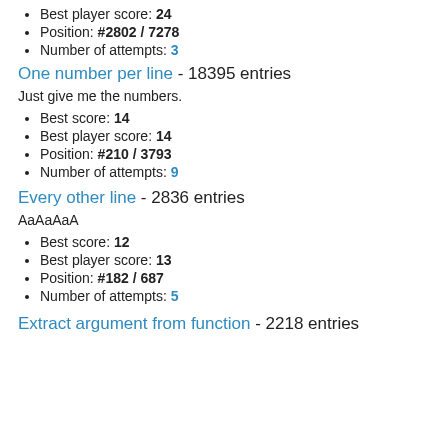Best player score: 24
Position: #2802 / 7278
Number of attempts: 3
One number per line - 18395 entries
Just give me the numbers.
Best score: 14
Best player score: 14
Position: #210 / 3793
Number of attempts: 9
Every other line - 2836 entries
AaAaAaA
Best score: 12
Best player score: 13
Position: #182 / 687
Number of attempts: 5
Extract argument from function - 2218 entries